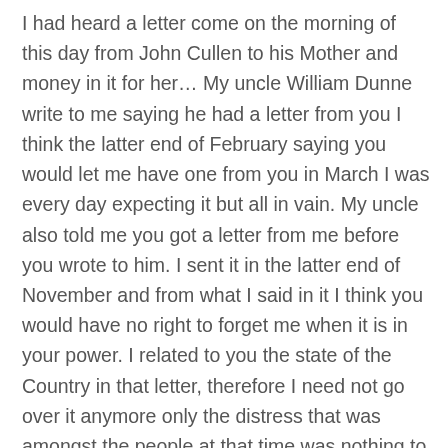I had heard a letter come on the morning of this day from John Cullen to his Mother and money in it for her… My uncle William Dunne write to me saying he had a letter from you I think the latter end of February saying you would let me have one from you in March I was every day expecting it but all in vain. My uncle also told me you got a letter from me before you wrote to him. I sent it in the latter end of November and from what I said in it I think you would have no right to forget me when it is in your power. I related to you the state of the Country in that letter, therefore I need not go over it anymore only the distress that was amongst the people at that time was nothing to what it is at present. The people are in a starving state the poor house is crowded with people and they are dying as fast as they can.
[F]rom 10 to 20 a day out of it there is come kind of a strange fever in it and it is the opinion of the Doctor it will spread over town and country when the weather